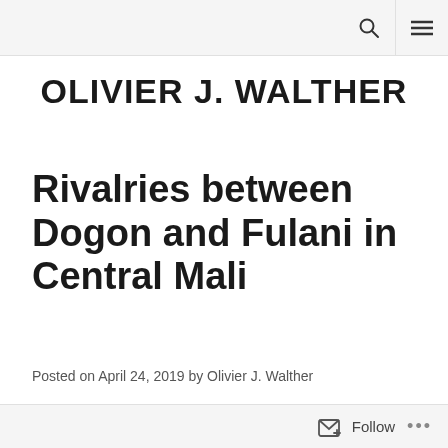OLIVIER J. WALTHER
Rivalries between Dogon and Fulani in Central Mali
Posted on April 24, 2019 by Olivier J. Walther
[Figure (photo): Partial view of a textile or woven fabric with brown, orange, and dark blue patterns, cropped at the bottom of the page.]